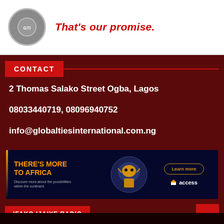[Figure (illustration): Top advertisement banner with circular logo on left and red italic text 'That's our promise.' on white background]
CONTACT
2 Thomas Salako Street Ogba, Lagos
08033440719, 08096940752
info@globaltiesinternational.com.ng
[Figure (illustration): Access Bank advertisement banner: dark blue background with African mask graphic, orange text 'THERE'S MORE TO AFRICA', 'Discover more about the possibilities within the continent.' and 'Learn more' button with Access Bank logo]
IFAKO IJAIYE RADIO
No Current Playlist available.